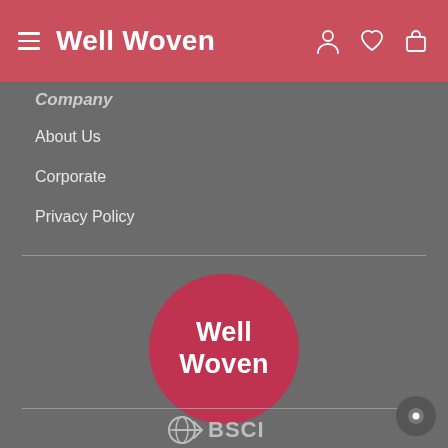Well Woven
Company
About Us
Corporate
Privacy Policy
[Figure (logo): Well Woven circular logo with white bold text on dark red/crimson circle background]
[Figure (logo): BSCI logo partially visible at bottom of page]